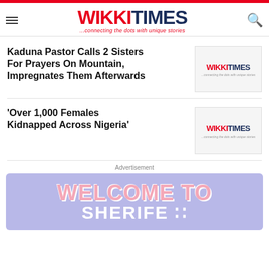WIKKITIMES ...connecting the dots with unique stories
Kaduna Pastor Calls 2 Sisters For Prayers On Mountain, Impregnates Them Afterwards
[Figure (logo): WikkiTimes logo thumbnail]
‘Over 1,000 Females Kidnapped Across Nigeria’
[Figure (logo): WikkiTimes logo thumbnail]
Advertisement
[Figure (infographic): Advertisement banner reading WELCOME TO SHERIFE with pastel pink text on purple/lavender background]